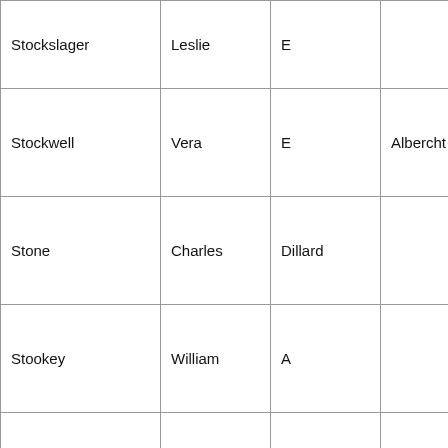| Stockslager | Leslie | E |  | 1
F
1 |
| Stockwell | Vera | E | Albercht | 2
N
1 |
| Stone | Charles | Dillard |  | 2
F
1 |
| Stookey | William | A |  | 1
Ju
2 |
| Stoops | Willie |  |  | 2
N |